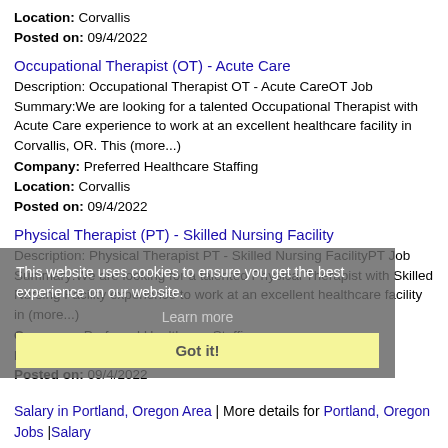Location: Corvallis
Posted on: 09/4/2022
Occupational Therapist (OT) - Acute Care
Description: Occupational Therapist OT - Acute CareOT Job Summary:We are looking for a talented Occupational Therapist with Acute Care experience to work at an excellent healthcare facility in Corvallis, OR. This (more...)
Company: Preferred Healthcare Staffing
Location: Corvallis
Posted on: 09/4/2022
Physical Therapist (PT) - Skilled Nursing Facility
Description: Physical Therapist PT - Skilled Nursing FacilityPT Job Summary:We are looking for a talented Physical Therapist with Skilled Nursing Facility experience to work at an excellent healthcare facility in (more...)
Company: Preferred Healthcare Staffing
Location: Corvallis
Posted on: 09/4/2022
This website uses cookies to ensure you get the best experience on our website.
Learn more
Got it!
Salary in Portland, Oregon Area | More details for Portland, Oregon Jobs |Salary